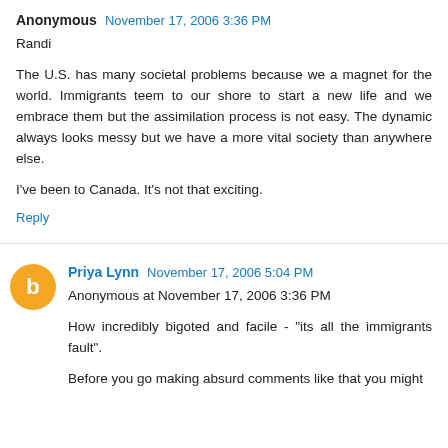Anonymous  November 17, 2006 3:36 PM
Randi

The U.S. has many societal problems because we a magnet for the world. Immigrants teem to our shore to start a new life and we embrace them but the assimilation process is not easy. The dynamic always looks messy but we have a more vital society than anywhere else.

I've been to Canada. It's not that exciting.
Reply
Priya Lynn  November 17, 2006 5:04 PM
Anonymous at November 17, 2006 3:36 PM

How incredibly bigoted and facile - "its all the immigrants fault".

Before you go making absurd comments like that you might